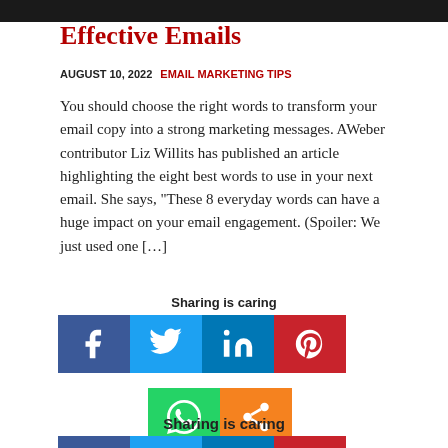Effective Emails
AUGUST 10, 2022  EMAIL MARKETING TIPS
You should choose the right words to transform your email copy into a strong marketing messages. AWeber contributor Liz Willits has published an article highlighting the eight best words to use in your next email. She says, “These 8 everyday words can have a huge impact on your email engagement. (Spoiler: We just used one […]
Sharing is caring
[Figure (infographic): Social sharing buttons: Facebook (blue), Twitter (blue), LinkedIn (blue), Pinterest (red), WhatsApp (green), Share (orange)]
Sharing is caring
[Figure (infographic): Social sharing buttons row: Facebook (blue), Twitter (blue), LinkedIn (blue), Pinterest (red)]